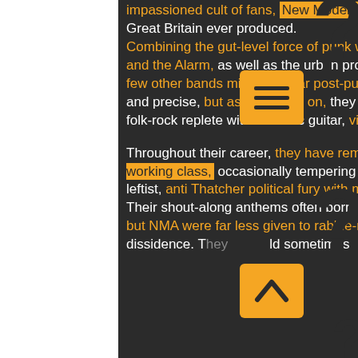impassioned cult of fans, New Model Army were one of the best post-punk outfits Great Britain ever produced. Combining the gut-level force of punk with the anthemic political fervour and the Alarm, as well as the urban protest folk of Billy Bragg, NMA sounded like few other bands mining similar post-punk territory. Their attack was hard, spare, and precise, but as time wore on, they were just as likely to deliver modern-day folk-rock replete with acoustic guitar, violin, and harmonica.

Throughout their career, they have remained staunch advocates of the British working class, occasionally tempering their leftist, anti Thatcher political fury with moments of personal introspection. Their shout-along anthems often borrowed the football-chant feel of Oi!, but NMA were far less given to rabble-rousing, instead aiming for intelligent dissidence. They would sometimes